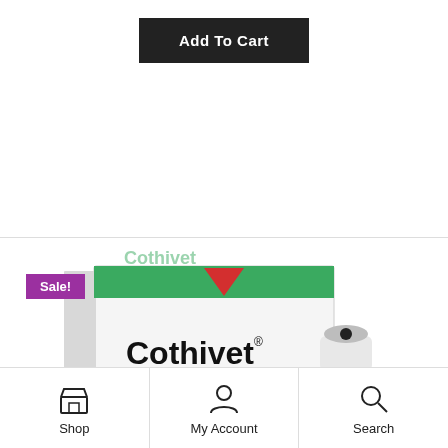Add To Cart
[Figure (photo): Cothivet veterinary antiseptic product: a white cardboard box with green and red branding showing the Cothivet brand name, labeled as Antiseptique cicatrisant / Cicatrizing agent Antiseptic, with SOLUTION USAGE EXTERNE EXTERNAL USE in red text, and a dark amber glass spray bottle next to it. A purple Sale! badge is in the top left.]
Shop
My Account
Search